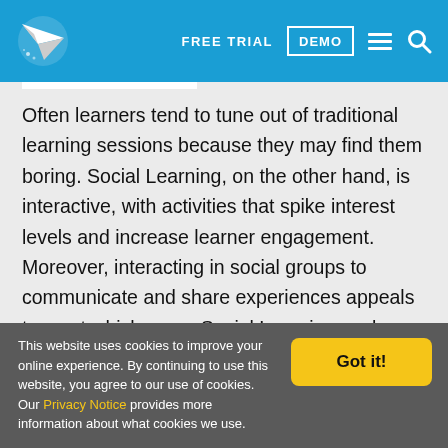FREE TRIAL DEMO [navigation menu and search icons]
Often learners tend to tune out of traditional learning sessions because they may find them boring. Social Learning, on the other hand, is interactive, with activities that spike interest levels and increase learner engagement. Moreover, interacting in social groups to communicate and share experiences appeals to most which mean Social Learning works as a great way to impart knowledge.
This website uses cookies to improve your online experience. By continuing to use this website, you agree to our use of cookies. Our Privacy Notice provides more information about what cookies we use. Got it!